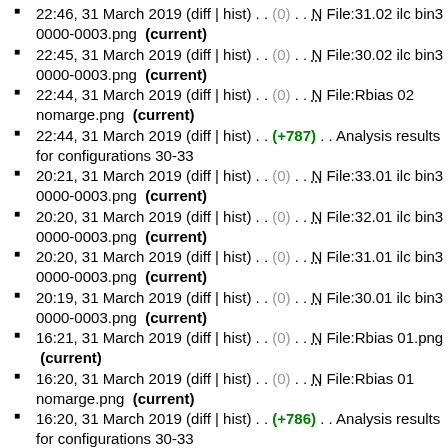22:46, 31 March 2019 (diff | hist) . . (0) . . N File:31.02 ilc bin3 0000-0003.png (current)
22:45, 31 March 2019 (diff | hist) . . (0) . . N File:30.02 ilc bin3 0000-0003.png (current)
22:44, 31 March 2019 (diff | hist) . . (0) . . N File:Rbias 02 nomarge.png (current)
22:44, 31 March 2019 (diff | hist) . . (+787) . . Analysis results for configurations 30-33
20:21, 31 March 2019 (diff | hist) . . (0) . . N File:33.01 ilc bin3 0000-0003.png (current)
20:20, 31 March 2019 (diff | hist) . . (0) . . N File:32.01 ilc bin3 0000-0003.png (current)
20:20, 31 March 2019 (diff | hist) . . (0) . . N File:31.01 ilc bin3 0000-0003.png (current)
20:19, 31 March 2019 (diff | hist) . . (0) . . N File:30.01 ilc bin3 0000-0003.png (current)
16:21, 31 March 2019 (diff | hist) . . (0) . . N File:Rbias 01.png (current)
16:20, 31 March 2019 (diff | hist) . . (0) . . N File:Rbias 01 nomarge.png (current)
16:20, 31 March 2019 (diff | hist) . . (+786) . . Analysis results for configurations 30-33
04:03, 31 March 2019 (diff | hist) . . (0) . . N File:33.06 ilc bin3 0000-0003.png (current)
04:02, 31 March 2019 (diff | hist) . . (0) . . N File:32.06 ilc bin3